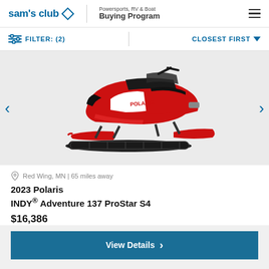sam's club | Powersports, RV & Boat Buying Program
FILTER: (2) | CLOSEST FIRST
[Figure (photo): Red and black 2023 Polaris INDY snowmobile on white background, shown from a 3/4 angle with red skis and tracks visible]
Red Wing, MN | 65 miles away
2023 Polaris INDY® Adventure 137 ProStar S4
$16,386
View Details